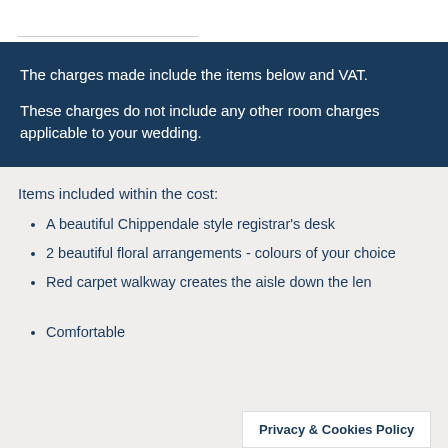The charges made include the items below and VAT.

These charges do not include any other room charges applicable to your wedding.
Items included within the cost:
A beautiful Chippendale style registrar's desk
2 beautiful floral arrangements - colours of your choice
Red carpet walkway creates the aisle down the length of room
Comfortable
Privacy & Cookies Policy